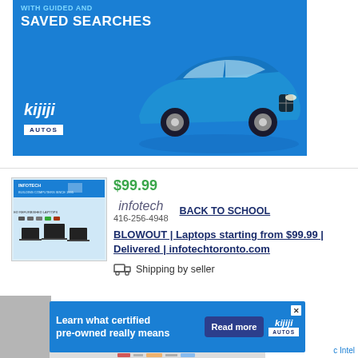[Figure (other): Kijiji Autos advertisement banner with blue background, white text reading 'WITH GUIDED AND SAVED SEARCHES', kijiji AUTOS logo, and a blue BMW car on the right side]
$99.99
infotech
416-256-4948
BACK TO SCHOOL
[Figure (photo): Thumbnail image showing infotech laptop advertisement with laptops displayed]
BLOWOUT | Laptops starting from $99.99 | Delivered | infotechtoronto.com
Shipping by seller
[Figure (other): Kijiji Autos bottom banner advertisement: 'Learn what certified pre-owned really means' with Read more button and Kijiji Autos logo]